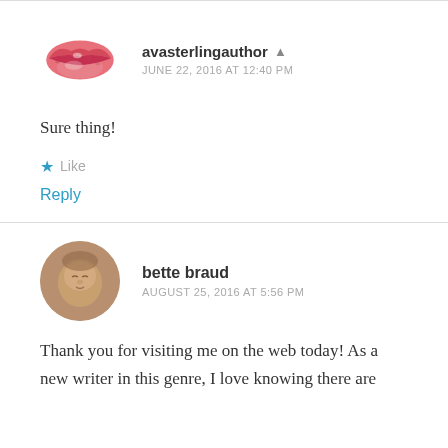[Figure (illustration): Pink lips emoji / kiss mark avatar icon for user avasterlingauthor]
avasterlingauthor  ▲
JUNE 22, 2016 AT 12:40 PM
Sure thing!
★ Like
Reply
[Figure (photo): Circular profile photo of a baby/child in sepia tone for user bette braud]
bette braud
AUGUST 25, 2016 AT 5:56 PM
Thank you for visiting me on the web today! As a new writer in this genre, I love knowing there are